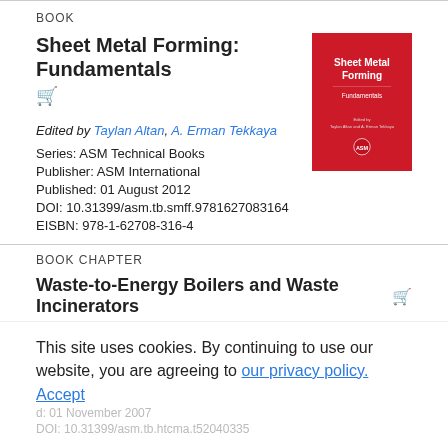BOOK
Sheet Metal Forming: Fundamentals
Edited by Taylan Altan, A. Erman Tekkaya
Series: ASM Technical Books
Publisher: ASM International
Published: 01 August 2012
DOI: 10.31399/asm.tb.smff.9781627083164
EISBN: 978-1-62708-316-4
[Figure (illustration): Book cover for Sheet Metal Forming: Fundamentals, red background with white title text and ASM logo]
BOOK CHAPTER
Waste-to-Energy Boilers and Waste Incinerators
Book: High Temperature Corrosion and Materials Applications
This site uses cookies. By continuing to use our website, you are agreeing to our privacy policy. Accept
DOI: 10.31399/asm.tb.htcma.t52040335